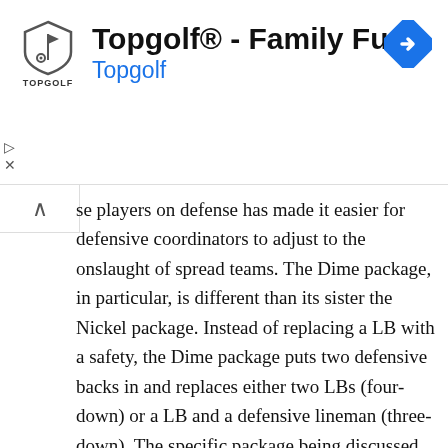[Figure (screenshot): Topgolf advertisement banner with logo, title 'Topgolf® - Family Fun', subtitle 'Topgolf' in blue, and a blue navigation/directions diamond icon on the right]
se players on defense has made it easier for defensive coordinators to adjust to the onslaught of spread teams. The Dime package, in particular, is different than its sister the Nickel package. Instead of replacing a LB with a safety, the Dime package puts two defensive backs in and replaces either two LBs (four-down) or a LB and a defensive lineman (three-down). The specific package being discussed in this article will cover the three-down, three safety Dime package most generally seen in college today.